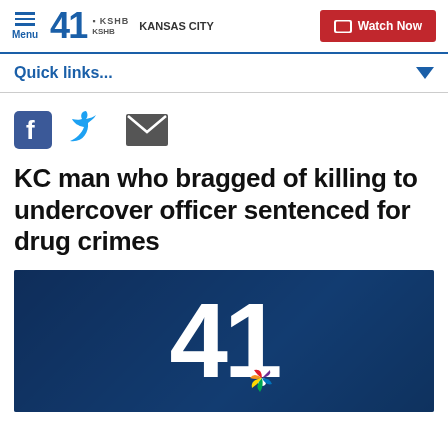Menu | 41 KSHB KANSAS CITY | Watch Now
Quick links...
[Figure (screenshot): Social share icons: Facebook, Twitter, Email]
KC man who bragged of killing to undercover officer sentenced for drug crimes
[Figure (photo): KSHB 41 Kansas City news station logo overlaid on a dark blue background image]